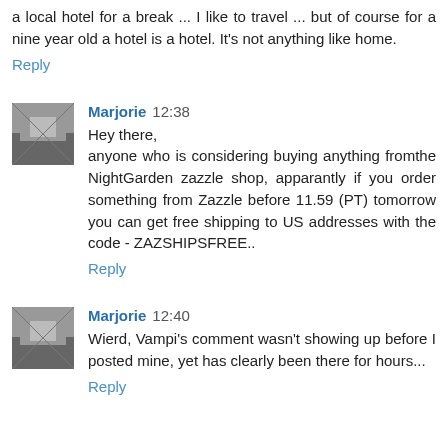a local hotel for a break ... I like to travel ... but of course for a nine year old a hotel is a hotel. It's not anything like home.
Reply
Marjorie  12:38
Hey there,
anyone who is considering buying anything fromthe NightGarden zazzle shop, apparantly if you order something from Zazzle before 11.59 (PT) tomorrow you can get free shipping to US addresses with the code - ZAZSHIPSFREE..
Reply
Marjorie  12:40
Wierd, Vampi's comment wasn't showing up before I posted mine, yet has clearly been there for hours...
Reply